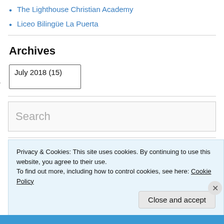The Lighthouse Christian Academy
Liceo Bilingüe La Puerta
Archives
July 2018  (15)
Search
Privacy & Cookies: This site uses cookies. By continuing to use this website, you agree to their use.
To find out more, including how to control cookies, see here: Cookie Policy
Close and accept